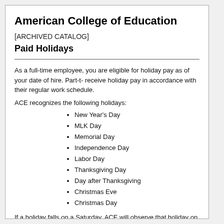American College of Education
[ARCHIVED CATALOG]
Paid Holidays
As a full-time employee, you are eligible for holiday pay as of your date of hire. Part-t... receive holiday pay in accordance with their regular work schedule.
ACE recognizes the following holidays:
New Year's Day
MLK Day
Memorial Day
Independence Day
Labor Day
Thanksgiving Day
Day after Thanksgiving
Christmas Eve
Christmas Day
If a holiday falls on a Saturday, ACE will observe that holiday on the preceding Frid...